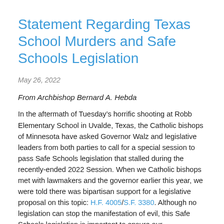Statement Regarding Texas School Murders and Safe Schools Legislation
May 26, 2022
From Archbishop Bernard A. Hebda
In the aftermath of Tuesday’s horrific shooting at Robb Elementary School in Uvalde, Texas, the Catholic bishops of Minnesota have asked Governor Walz and legislative leaders from both parties to call for a special session to pass Safe Schools legislation that stalled during the recently-ended 2022 Session. When we Catholic bishops met with lawmakers and the governor earlier this year, we were told there was bipartisan support for a legislative proposal on this topic: H.F. 4005/S.F. 3380. Although no legislation can stop the manifestation of evil, this Safe Schools legislation is important to ensure our students’